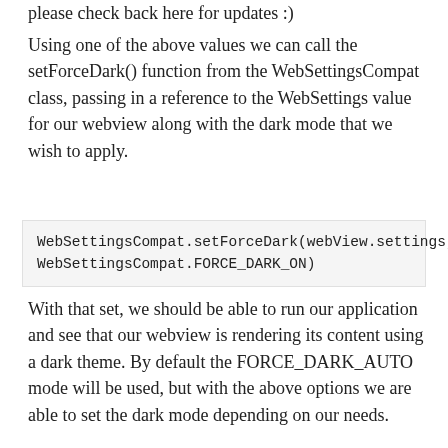please check back here for updates :)
Using one of the above values we can call the setForceDark() function from the WebSettingsCompat class, passing in a reference to the WebSettings value for our webview along with the dark mode that we wish to apply.
With that set, we should be able to run our application and see that our webview is rendering its content using a dark theme. By default the FORCE_DARK_AUTO mode will be used, but with the above options we are able to set the dark mode depending on our needs.